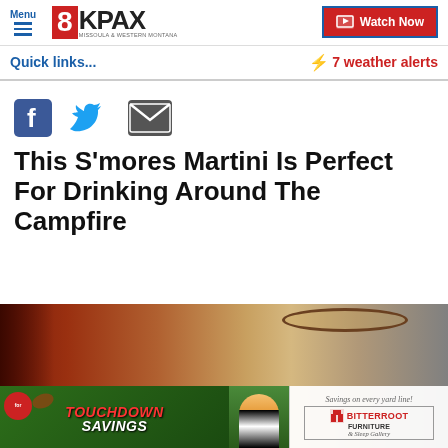Menu | 8KPAX MISSOULA & WESTERN MONTANA | Watch Now
Quick links...
⚡ 7 weather alerts
[Figure (other): Facebook, Twitter, and Email share icons]
This S'mores Martini Is Perfect For Drinking Around The Campfire
[Figure (photo): Photo of a s'mores martini drink with chocolate shavings and marshmallow topping, with an overlaid advertisement for Touchdown Savings and Bitterroot Furniture & Sleep Gallery]